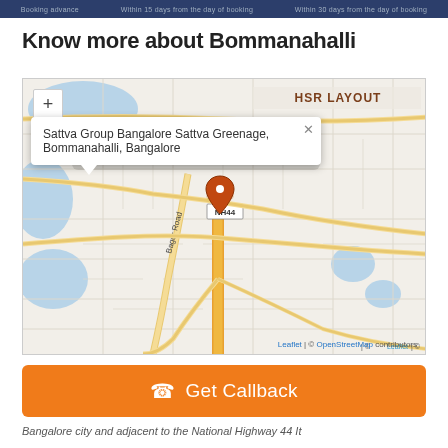Booking advance | Within 15 days from the day of booking | Within 30 days from the day of booking
Know more about Bommanahalli
[Figure (map): OpenStreetMap map showing Bommanahalli area in Bangalore. Displays HSR Layout label to the upper right, BOMMANAHALLI label in center-left area. Map has zoom +/- controls on upper left. An orange location pin marks the property location with a popup reading: Sattva Group Bangalore Sattva Greenage, Bommanahalli, Bangalore. Bagur Road and NH44 are visible as major roads. Attribution: Leaflet | © OpenStreetMap contributors.]
Get Callback
Bangalore city and adjacent to the National Highway 44 It